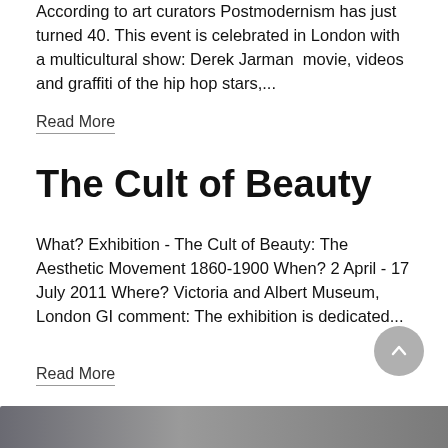According to art curators Postmodernism has just turned 40. This event is celebrated in London with a multicultural show: Derek Jarman movie, videos and graffiti of the hip hop stars,...
Read More
The Cult of Beauty
What? Exhibition - The Cult of Beauty: The Aesthetic Movement 1860-1900 When? 2 April - 17 July 2011 Where? Victoria and Albert Museum, London GI comment: The exhibition is dedicated...
Read More
[Figure (photo): Partial view of a photo strip at the bottom of the page]